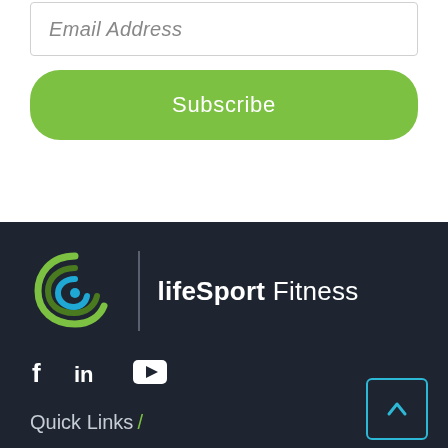Email Address
Subscribe
[Figure (logo): lifeSport Fitness logo — spiral circle with green and blue colors, vertical divider, bold 'lifeSport' text followed by regular 'Fitness' text in white]
[Figure (infographic): Social media icons: Facebook (f), LinkedIn (in), YouTube (play button)]
Quick Links /